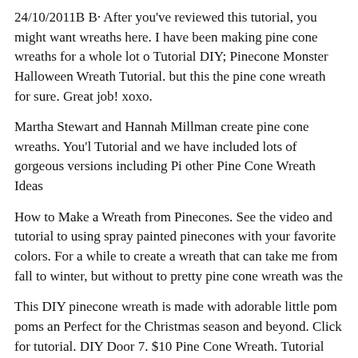24/10/2011B B· After you've reviewed this tutorial, you might want wreaths here. I have been making pine cone wreaths for a whole lot of Tutorial DIY; Pinecone Monster Halloween Wreath Tutorial. but this the pine cone wreath for sure. Great job! xoxo.
Martha Stewart and Hannah Millman create pine cone wreaths. You'll Tutorial and we have included lots of gorgeous versions including Pi other Pine Cone Wreath Ideas
How to Make a Wreath from Pinecones. See the video and tutorial to using spray painted pinecones with your favorite colors. For a while to create a wreath that can take me from fall to winter, but without to pretty pine cone wreath was the
This DIY pinecone wreath is made with adorable little pom poms and Perfect for the Christmas season and beyond. Click for tutorial. DIY Door 7. $10 Pine Cone Wreath. Tutorial $10 Pine Cone Wreath . 8.
Here is our tutorial on how to make pine cone zinnias including our t cones easily and quickly. B« Summer Wreath made with Pine Cone